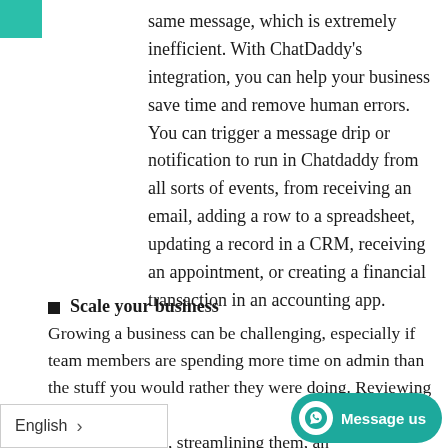same message, which is extremely inefficient. With ChatDaddy's integration, you can help your business save time and remove human errors. You can trigger a message drip or notification to run in Chatdaddy from all sorts of events, from receiving an email, adding a row to a spreadsheet, updating a record in a CRM, receiving an appointment, or creating a financial transaction in an accounting app.
Scale your business
Growing a business can be challenging, especially if team members are spending more time on admin than the stuff you would rather they were doing. Reviewing your processes, streamlining them, and using Chatdaddy to automate them will free up
English >